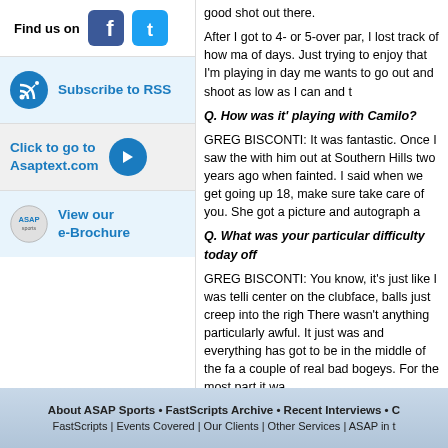Find us on
[Figure (logo): Facebook and Twitter social media icons]
[Figure (logo): Subscribe to RSS button with RSS icon]
[Figure (logo): Click to go to Asaptext.com with arrow button]
[Figure (logo): View our e-Brochure with ASAP logo]
good shot out there. After I got to 4- or 5-over par, I lost track of how ma of days. Just trying to enjoy that I'm playing in day me wants to go out and shoot as low as I can and t
Q. How was it' playing with Camilo?
GREG BISCONTI: It was fantastic. Once I saw the with him out at Southern Hills two years ago when fainted. I said when we get going up 18, make sure take care of you. She got a picture and autograph a
Q. What was your particular difficulty today off
GREG BISCONTI: You know, it's just like I was telli center on the clubface, balls just creep into the righ There wasn't anything particularly awful. It just was and everything has got to be in the middle of the fa a couple of real bad bogeys. For the most part it wa
Q. Is there any one moment where you're going
GREG BISCONTI: I think just making the cut. For c Sunday morning. I'm realistic. Club pros don't tend the second round is going to be an important round was even par, and it was a shot when I needed to s
End of FastScripts
About ASAP Sports • FastScripts Archive • Recent Interviews • C FastScripts | Events Covered | Our Clients | Other Services | ASAP in t